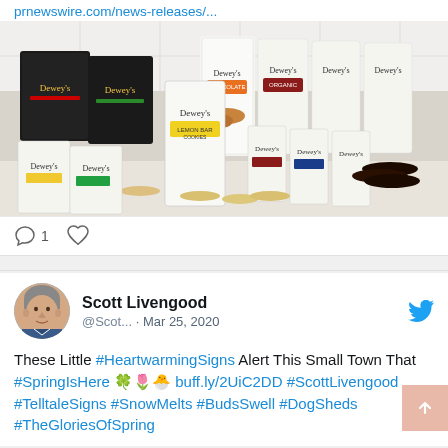prnewswire.com/news-releases/...
[Figure (photo): Product photo showing multiple Dewey's brand cookie and cracker packages arranged together on a white surface, including various flavors in black, white and colorful packaging with cookies and crackers displayed in front.]
1
Scott Livengood @Scot... · Mar 25, 2020
These Little #HeartwarmingSigns Alert This Small Town That #SpringIsHere 🍀🌷🐣 buff.ly/2UiC2DD #ScottLivengood #TelltaleSigns #SnowMelts #BudsSwell #DogSheds #TheGloriesOfSpring